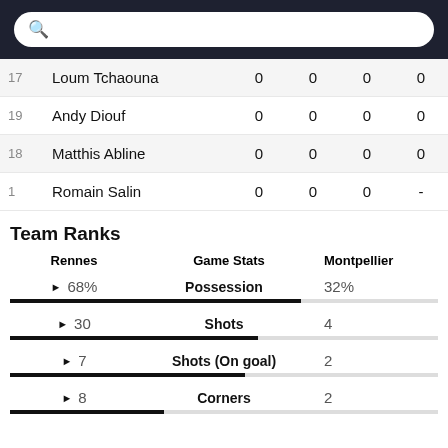| # | Player |  |  |  |  |
| --- | --- | --- | --- | --- | --- |
| 17 | Loum Tchaouna | 0 | 0 | 0 | 0 |
| 19 | Andy Diouf | 0 | 0 | 0 | 0 |
| 18 | Matthis Abline | 0 | 0 | 0 | 0 |
| 1 | Romain Salin | 0 | 0 | 0 | - |
Team Ranks
| Rennes | Game Stats | Montpellier |
| --- | --- | --- |
| 68% | Possession | 32% |
| 30 | Shots | 4 |
| 7 | Shots (On goal) | 2 |
| 8 | Corners | 2 |